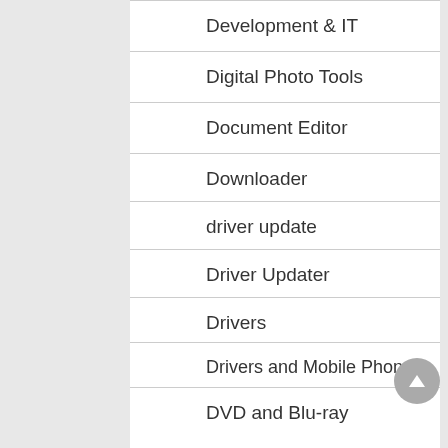Development & IT
Digital Photo Tools
Document Editor
Downloader
driver update
Driver Updater
Drivers
Drivers and Mobile Phones
DVD and Blu-ray
File Management
Firewalls and Security
Gaming